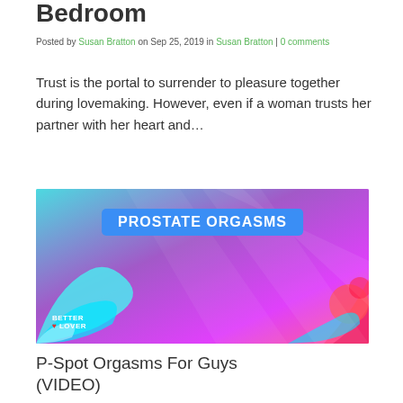Bedroom
Posted by Susan Bratton on Sep 25, 2019 in Susan Bratton | 0 comments
Trust is the portal to surrender to pleasure together during lovemaking. However, even if a woman trusts her partner with her heart and…
[Figure (photo): Video thumbnail for 'Prostate Orgasms' featuring a woman in a police costume in front of a colorful splash background with the text 'PROSTATE ORGASMS' and a 'Better Lover' logo]
P-Spot Orgasms For Guys (VIDEO)